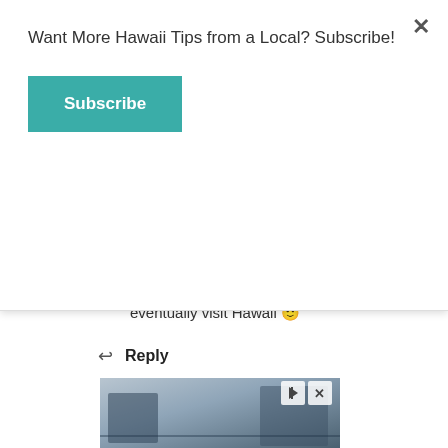Want More Hawaii Tips from a Local? Subscribe!
Subscribe
eventually visit Hawaii 🙂
↩ Reply
Borders & Bucket Lists
SEPTEMBER 16, 2018 AT 11:24 AM
Aw thank you so much for continually reading my blog! Your support really means a lot!
[Figure (photo): Advertisement banner with a video playing, showing two people at a desk, with play and close controls visible.]